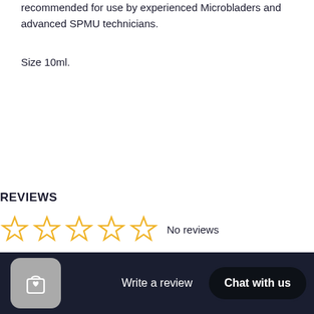recommended for use by experienced Microbladers and advanced SPMU technicians.
Size 10ml.
REVIEWS
[Figure (other): Five empty star rating icons followed by text 'No reviews']
[Figure (other): Bottom navigation bar with shopping bag icon, 'Write a review' text, and 'Chat with us' button on dark navy background]